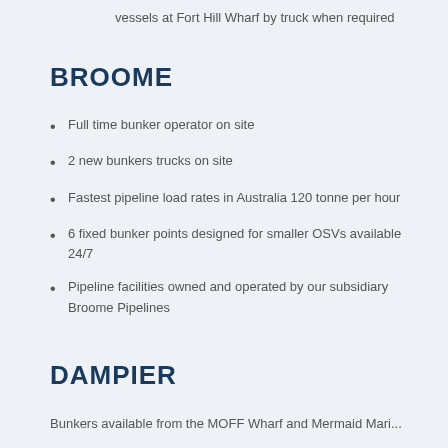vessels at Fort Hill Wharf by truck when required
BROOME
Full time bunker operator on site
2 new bunkers trucks on site
Fastest pipeline load rates in Australia 120 tonne per hour
6 fixed bunker points designed for smaller OSVs available 24/7
Pipeline facilities owned and operated by our subsidiary Broome Pipelines
DAMPIER
Bunkers available from the MOFF Wharf and Mermaid Marine